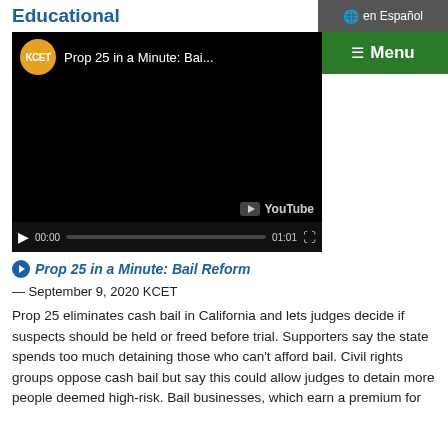Educational
[Figure (screenshot): YouTube video thumbnail showing a KCET video titled 'Prop 25 in a Minute: Bai...' with video controls showing 00:00 / 01:01]
Prop 25 in a Minute: Bail Reform
— September 9, 2020 KCET
Prop 25 eliminates cash bail in California and lets judges decide if suspects should be held or freed before trial. Supporters say the state spends too much detaining those who can't afford bail. Civil rights groups oppose cash bail but say this could allow judges to detain more people deemed high-risk. Bail businesses, which earn a premium for